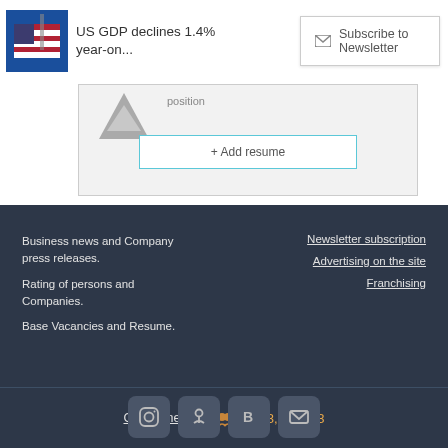US GDP declines 1.4% year-on...
Subscribe to Newsletter
position
+ Add resume
Business news and Company press releases.
Rating of persons and Companies.
Base Vacancies and Resume.
Newsletter subscription
Advertising on the site
Franchising
Global metrics  7,973,731,733
[Figure (other): Social media icons: Instagram, Odnoklassniki, VK, Email]